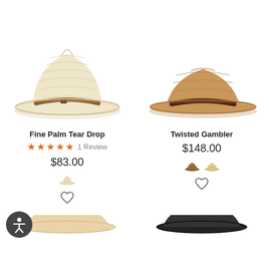[Figure (photo): Fine Palm Tear Drop hat - cream/natural straw fedora with brown leather band]
[Figure (photo): Twisted Gambler hat - medium tan/raffia straw gambler hat with dark brown band]
Fine Palm Tear Drop
★★★★★ 1 Review
$83.00
[Figure (photo): Color swatch - natural/cream mini hat]
[Figure (other): Wishlist heart icon]
Twisted Gambler
$148.00
[Figure (photo): Color swatches - two mini hat images in brown and natural]
[Figure (other): Wishlist heart icon]
[Figure (other): Accessibility icon button]
[Figure (photo): Bottom partial hat - light beige/natural straw hat]
[Figure (photo): Bottom partial hat - black straw hat]